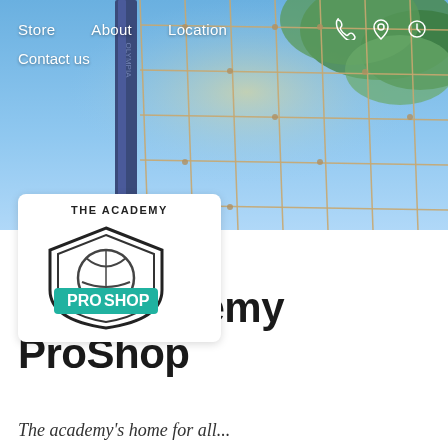[Figure (photo): Volleyball net close-up with blue sky and palm trees in background, used as hero image]
Store   About   Location   Contact us
[Figure (logo): The Academy ProShop logo: shield shape with volleyball graphic and teal PROSHOP text]
The Academy ProShop
The academy's home for all...